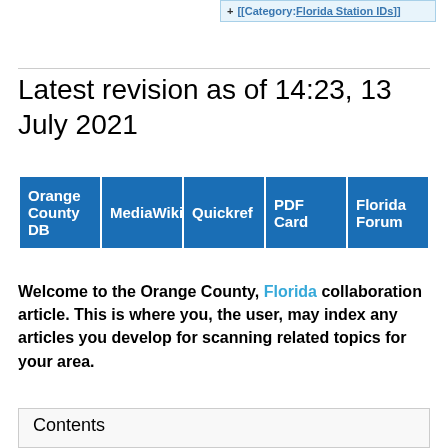+ [[Category:Florida Station IDs]]
Latest revision as of 14:23, 13 July 2021
| Orange County DB | MediaWiki | Quickref | PDF Card | Florida Forum |
| --- | --- | --- | --- | --- |
Welcome to the Orange County, Florida collaboration article. This is where you, the user, may index any articles you develop for scanning related topics for your area.
Contents